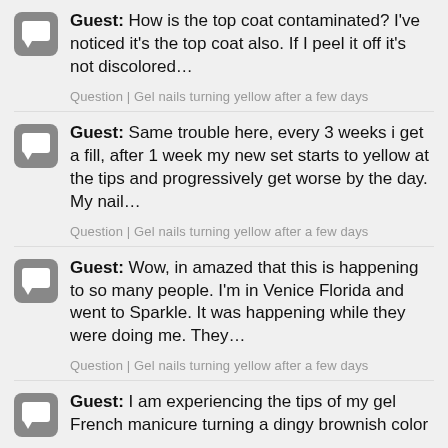Guest: How is the top coat contaminated? I've noticed it's the top coat also. If I peel it off it's not discolored…
Question | Gel nails turning yellow after a few days
Guest: Same trouble here, every 3 weeks i get a fill, after 1 week my new set starts to yellow at the tips and progressively get worse by the day. My nail…
Question | Gel nails turning yellow after a few days
Guest: Wow, in amazed that this is happening to so many people. I'm in Venice Florida and went to Sparkle. It was happening while they were doing me. They…
Question | Gel nails turning yellow after a few days
Guest: I am experiencing the tips of my gel French manicure turning a dingy brownish color